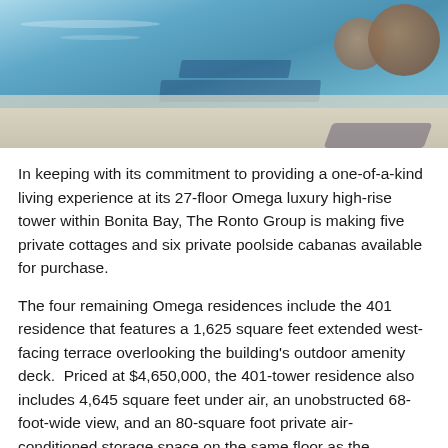[Figure (photo): Aerial/close-up view of a luxury swimming pool with blue water, pool edge tiles, light stone deck, and wicker basket chairs in the upper right corner]
In keeping with its commitment to providing a one-of-a-kind living experience at its 27-floor Omega luxury high-rise tower within Bonita Bay, The Ronto Group is making five private cottages and six private poolside cabanas available for purchase.
The four remaining Omega residences include the 401 residence that features a 1,625 square feet extended west-facing terrace overlooking the building's outdoor amenity deck.  Priced at $4,650,000, the 401-tower residence also includes 4,645 square feet under air, an unobstructed 68-foot-wide view, and an 80-square foot private air-conditioned storage space on the same floor as the residence.  A staircase secured by a fob entry will lead from the extended